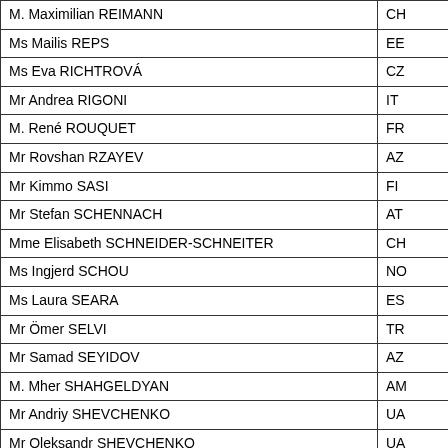| Name | Country |
| --- | --- |
| M. Maximilian REIMANN | CH |
| Ms Mailis REPS | EE |
| Ms Eva RICHTROVÁ | CZ |
| Mr Andrea RIGONI | IT |
| M. René ROUQUET | FR |
| Mr Rovshan RZAYEV | AZ |
| Mr Kimmo SASI | FI |
| Mr Stefan SCHENNACH | AT |
| Mme Elisabeth SCHNEIDER-SCHNEITER | CH |
| Ms Ingjerd SCHOU | NO |
| Ms Laura SEARA | ES |
| Mr Ömer SELVI | TR |
| Mr Samad SEYIDOV | AZ |
| M. Mher SHAHGELDYAN | AM |
| Mr Andriy SHEVCHENKO | UA |
| Mr Oleksandr SHEVCHENKO | UA |
| Mr Jouko SKINNARI | FI |